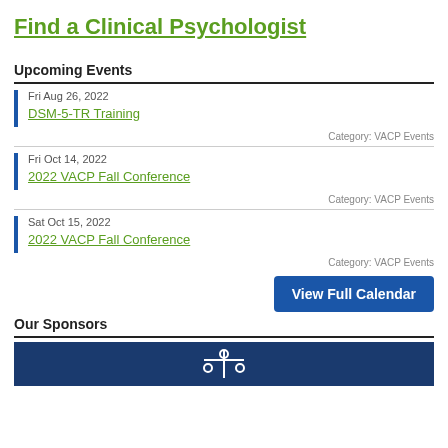Find a Clinical Psychologist
Upcoming Events
Fri Aug 26, 2022 — DSM-5-TR Training — Category: VACP Events
Fri Oct 14, 2022 — 2022 VACP Fall Conference — Category: VACP Events
Sat Oct 15, 2022 — 2022 VACP Fall Conference — Category: VACP Events
View Full Calendar
Our Sponsors
[Figure (logo): Sponsor logo on dark blue background]